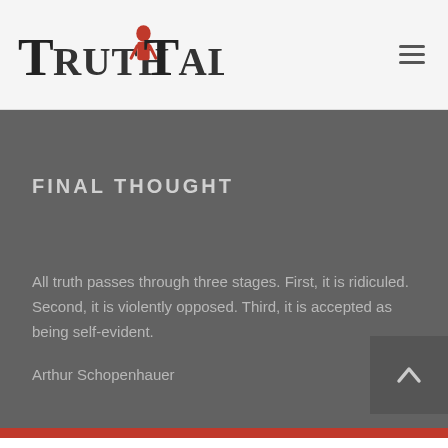Truth Talk
FINAL THOUGHT
All truth passes through three stages. First, it is ridiculed. Second, it is violently opposed. Third, it is accepted as being self-evident.

Arthur Schopenhauer